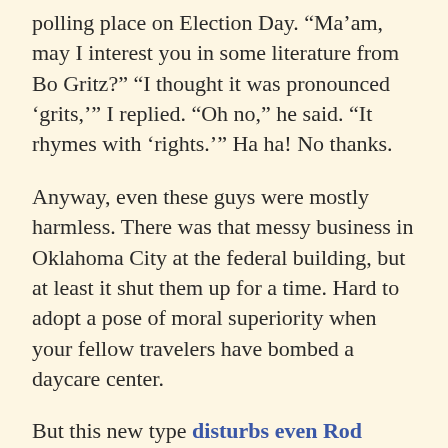polling place on Election Day. “Ma’am, may I interest you in some literature from Bo Gritz?” “I thought it was pronounced ‘grits,’” I replied. “Oh no,” he said. “It rhymes with ‘rights.’” Ha ha! No thanks.
Anyway, even these guys were mostly harmless. There was that messy business in Oklahoma City at the federal building, but at least it shut them up for a time. Hard to adopt a pose of moral superiority when your fellow travelers have bombed a daycare center.
But this new type disturbs even Rod Dreher, and I’m not sure what to think of